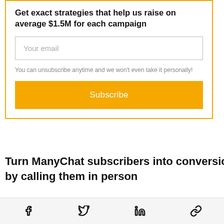Get exact strategies that help us raise on average $1.5M for each campaign
Your email
You can unsubscribe anytime and we won't even take it personally!
Subscribe
Turn ManyChat subscribers into conversions by calling them in person
Social share icons: Facebook, Twitter, LinkedIn, Link